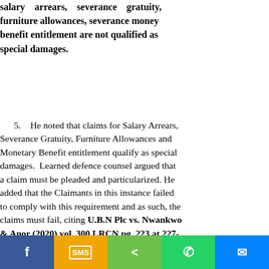salary arrears, severance gratuity, furniture allowances, severance money benefit entitlement are not qualified as special damages.
5. He noted that claims for Salary Arrears, Severance Gratuity, Furniture Allowances and Monetary Benefit entitlement qualify as special damages. Learned defence counsel argued that a claim must be pleaded and particularized. He added that the Claimants in this instance failed to comply with this requirement and as such, the claims must fail, citing U.B.N Plc vs. Nwankwo & Anor (2020) vol. 300 LRCN pg. 223 at 227-229 ratios 2-8.
7. The defence counsel further contended that the
[Figure (other): Social media sharing bar with Facebook, SMS, Share, WhatsApp, and Messenger buttons]